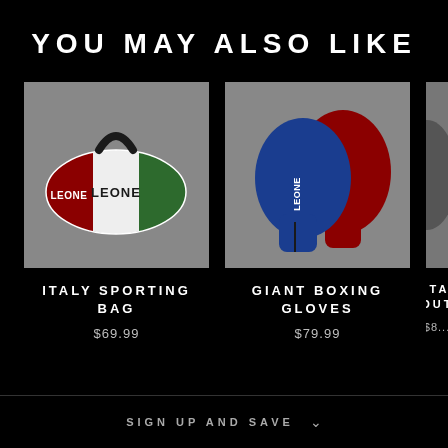YOU MAY ALSO LIKE
[Figure (photo): Leone Italy Sporting Bag - red, white and green duffle bag on grey background]
ITALY SPORTING BAG
$69.99
[Figure (photo): Leone Giant Boxing Gloves - blue and red boxing gloves on grey background]
GIANT BOXING GLOVES
$79.99
[Figure (photo): Titan Mouthguard - partially visible product on grey background]
TITAN MOUTHG...
$8...
SIGN UP AND SAVE